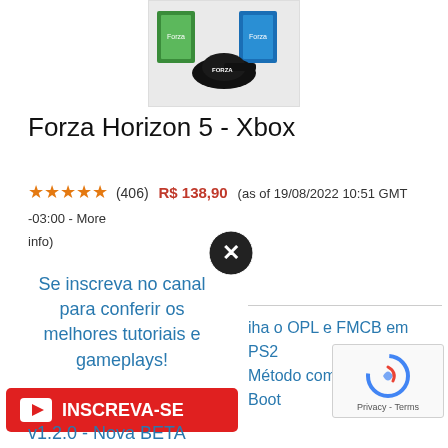[Figure (photo): Product image of Forza Horizon 5 Xbox game bundle with game cases and branded cap]
Forza Horizon 5 - Xbox
★★★★★ (406) R$ 138,90 (as of 19/08/2022 10:51 GMT -03:00 - More info)
[Figure (other): Close/X button (circular black button with X)]
Se inscreva no canal para conferir os melhores tutoriais e gameplays!
[Figure (other): Red Subscribe button with YouTube play icon and text INSCREVA-SE]
ilha o OPL e FMCB em PS2 Método com Free DVD Boot
[Figure (other): reCAPTCHA widget with Privacy - Terms label]
v1.2.0 - Nova BETA